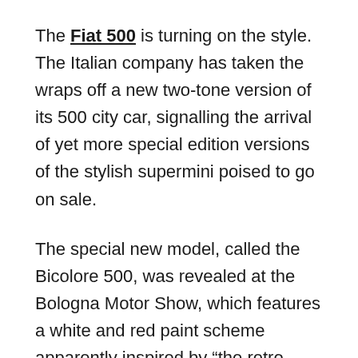The Fiat 500 is turning on the style. The Italian company has taken the wraps off a new two-tone version of its 500 city car, signalling the arrival of yet more special edition versions of the stylish supermini poised to go on sale.
The special new model, called the Bicolore 500, was revealed at the Bologna Motor Show, which features a white and red paint scheme apparently inspired by “the retro world of '50s American cars and the extraordinary pop art movement.”
The car shown is based on the 85bhp 500 TwinAir in Pop specification. There are no mechanical changes, but...